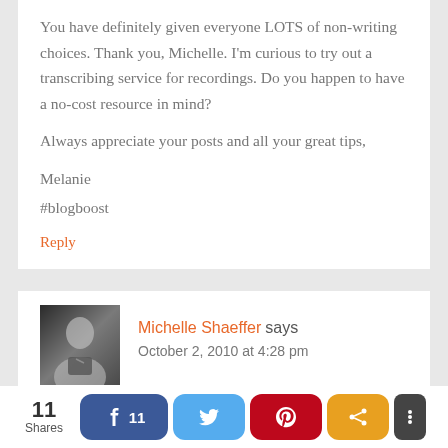You have definitely given everyone LOTS of non-writing choices. Thank you, Michelle. I'm curious to try out a transcribing service for recordings. Do you happen to have a no-cost resource in mind?

Always appreciate your posts and all your great tips,

Melanie
#blogboost
Reply
Michelle Shaeffer says
October 2, 2010 at 4:28 pm
I haven't tried yet, but here are three I've had recommended to me:
11 Shares